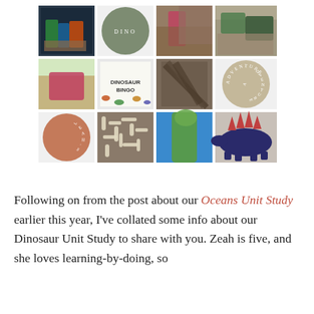[Figure (photo): A 3x4 collage grid of dinosaur-themed photos and decorative circle badges. Row 1: photo of colorful dinosaur toys on a tray, a sage green circle with 'DINO' text, photo of a child with large dinosaur statue, photo of model dinosaurs. Row 2: photo of pink dinosaur painting on sand, photo of Dinosaur Bingo game/card, photo of dried animal remains, a tan/beige circle with 'ADVENTURE' text. Row 3: a terracotta circle with 'LEAH'S' text, photo of small dinosaur skeleton toys, photo of green dinosaur neck/head against blue sky, photo of a handmade stegosaurus cutout.]
Following on from the post about our Oceans Unit Study earlier this year, I've collated some info about our Dinosaur Unit Study to share with you. Zeah is five, and she loves learning-by-doing, so